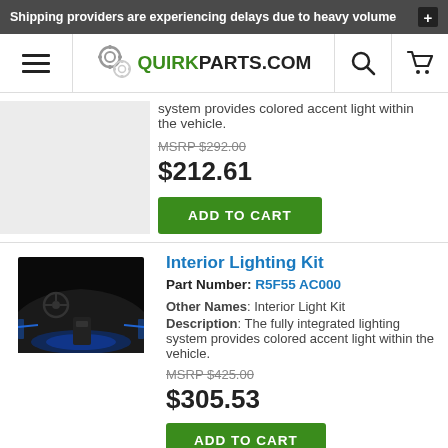Shipping providers are experiencing delays due to heavy volume
[Figure (logo): QuirkParts.com logo with gear icons, search icon, and cart icon in navigation bar]
system provides colored accent light within the vehicle.
MSRP $292.00
$212.61
ADD TO CART
[Figure (photo): Car interior at night with blue ambient lighting showing dashboard and footwell]
Interior Lighting Kit
Part Number: R5F55 AC000
Other Names: Interior Light Kit
Description: The fully integrated lighting system provides colored accent light within the vehicle.
MSRP $425.00
$305.53
ADD TO CART